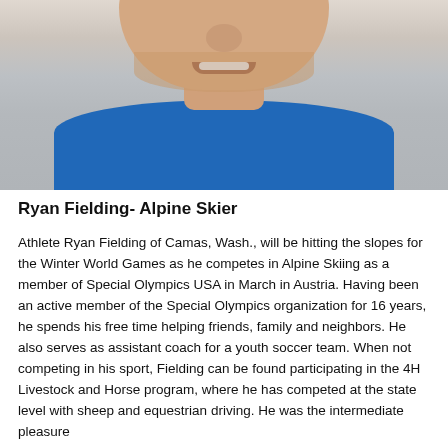[Figure (photo): Headshot photo of Ryan Fielding, a man wearing a blue shirt, cropped at the shoulders, light background.]
Ryan Fielding- Alpine Skier
Athlete Ryan Fielding of Camas, Wash., will be hitting the slopes for the Winter World Games as he competes in Alpine Skiing as a member of Special Olympics USA in March in Austria. Having been an active member of the Special Olympics organization for 16 years, he spends his free time helping friends, family and neighbors. He also serves as assistant coach for a youth soccer team. When not competing in his sport, Fielding can be found participating in the 4H Livestock and Horse program, where he has competed at the state level with sheep and equestrian driving. He was the intermediate pleasure